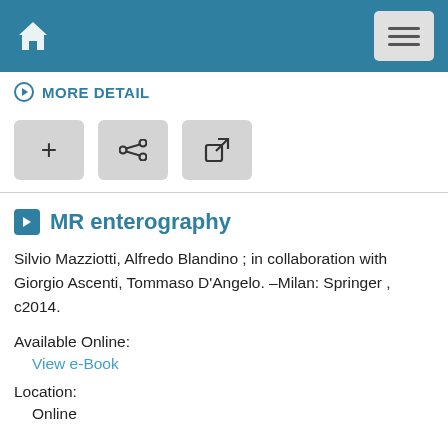MORE DETAIL
[Figure (screenshot): Navigation bar with home icon and hamburger menu button on teal background]
MORE DETAIL
MR enterography
Silvio Mazziotti, Alfredo Blandino ; in collaboration with Giorgio Ascenti, Tommaso D'Angelo. –Milan: Springer , c2014.
Available Online:
View e-Book
Location:
Online